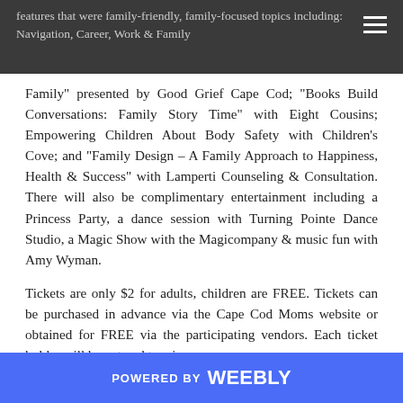features that were family-friendly, family-focused topics including: Navigation, Career, Work & Family presented by Good Grief Cape Cod; "Books Build Conversations: Family Story Time" with Eight Cousins; Empowering Children About Body Safety with Children's Cove; and "Family Design – A Family Approach to Happiness, Health & Success" with Lamperti Counseling & Consultation. There will also be complimentary entertainment including a Princess Party, a dance session with Turning Pointe Dance Studio, a Magic Show with the Magicompany & music fun with Amy Wyman.
Family" presented by Good Grief Cape Cod; "Books Build Conversations: Family Story Time" with Eight Cousins; Empowering Children About Body Safety with Children's Cove; and "Family Design – A Family Approach to Happiness, Health & Success" with Lamperti Counseling & Consultation. There will also be complimentary entertainment including a Princess Party, a dance session with Turning Pointe Dance Studio, a Magic Show with the Magicompany & music fun with Amy Wyman.
Tickets are only $2 for adults, children are FREE. Tickets can be purchased in advance via the Cape Cod Moms website or obtained for FREE via the participating vendors. Each ticket holder will be entered to win a
POWERED BY weebly